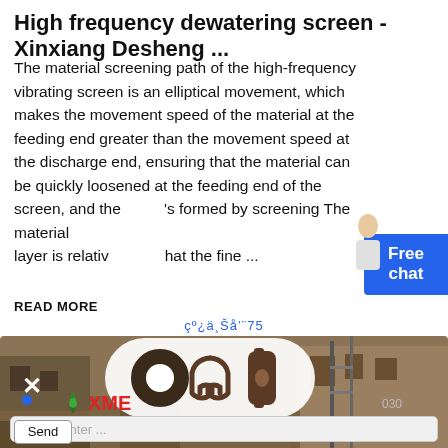High frequency dewatering screen - Xinxiang Desheng ...
The material screening path of the high-frequency vibrating screen is an elliptical movement, which makes the movement speed of the material at the feeding end greater than the movement speed at the discharge end, ensuring that the material can be quickly loosened at the feeding end of the screen, and the … is formed by screening The material layer is relativ… hat the fine …
READ MORE
å¼小屏å^8ån小屏ån5
[Figure (screenshot): Chat popup overlay showing construction site photo in background, headphone icon in white rounded rectangle overlay, X close button, blue dot, XME logo, text input field with placeholder 'Please enter ...' and Send button]